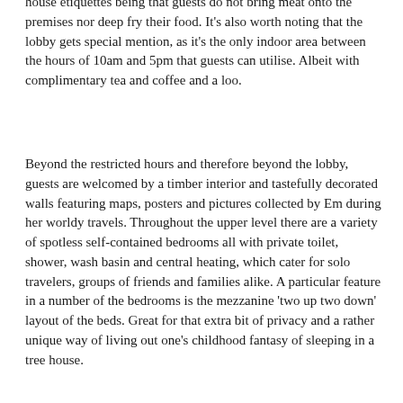house etiquettes being that guests do not bring meat onto the premises nor deep fry their food. It's also worth noting that the lobby gets special mention, as it's the only indoor area between the hours of 10am and 5pm that guests can utilise. Albeit with complimentary tea and coffee and a loo.
Beyond the restricted hours and therefore beyond the lobby, guests are welcomed by a timber interior and tastefully decorated walls featuring maps, posters and pictures collected by Em during her worldy travels. Throughout the upper level there are a variety of spotless self-contained bedrooms all with private toilet, shower, wash basin and central heating, which cater for solo travelers, groups of friends and families alike. A particular feature in a number of the bedrooms is the mezzanine 'two up two down' layout of the beds. Great for that extra bit of privacy and a rather unique way of living out one's childhood fantasy of sleeping in a tree house.